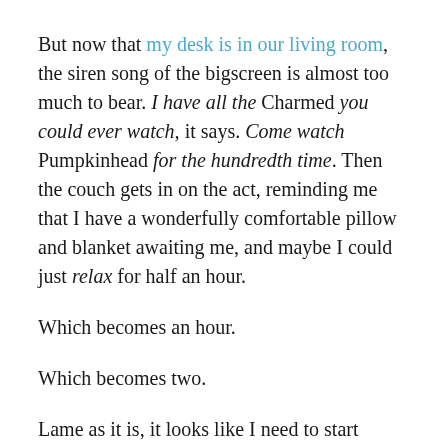But now that my desk is in our living room, the siren song of the bigscreen is almost too much to bear. I have all the Charmed you could ever watch, it says. Come watch Pumpkinhead for the hundredth time. Then the couch gets in on the act, reminding me that I have a wonderfully comfortable pillow and blanket awaiting me, and maybe I could just relax for half an hour.
Which becomes an hour.
Which becomes two.
Lame as it is, it looks like I need to start scheduling blocks of tv watching for myself. Scheduling time and sticking to it. I'm not getting anywhere being tethered to this remote.
But the couch really is comfy. And they have the whole